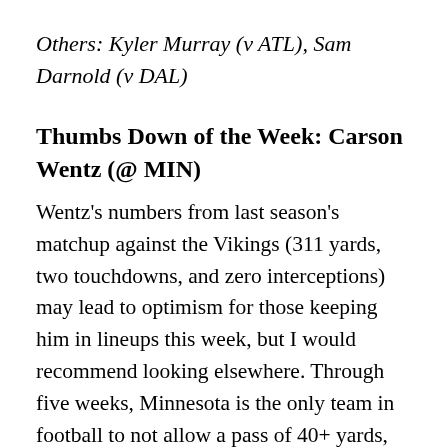Others: Kyler Murray (v ATL), Sam Darnold (v DAL)
Thumbs Down of the Week: Carson Wentz (@ MIN)
Wentz's numbers from last season's matchup against the Vikings (311 yards, two touchdowns, and zero interceptions) may lead to optimism for those keeping him in lineups this week, but I would recommend looking elsewhere. Through five weeks, Minnesota is the only team in football to not allow a pass of 40+ yards, and their 6.2 yards per attempt